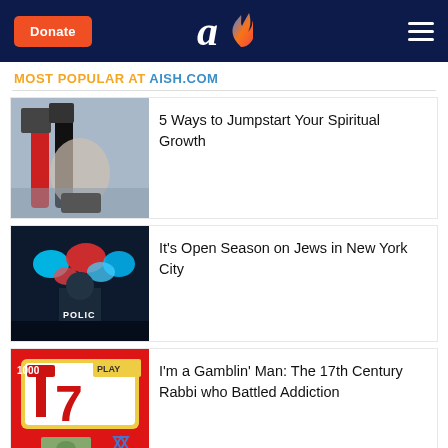Donate | Aish.com logo | Menu
MOST POPULAR AT AISH.COM
5 Ways to Jumpstart Your Spiritual Growth
It's Open Season on Jews in New York City
I'm a Gamblin' Man: The 17th Century Rabbi who Battled Addiction